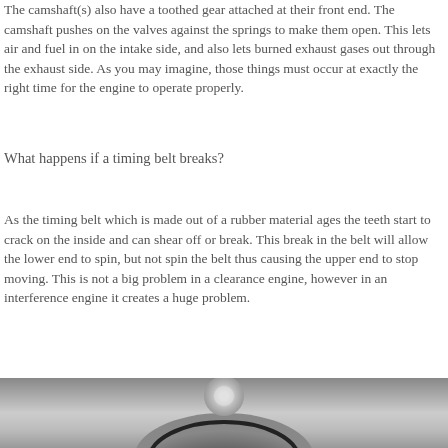The camshaft(s) also have a toothed gear attached at their front end. The camshaft pushes on the valves against the springs to make them open. This lets air and fuel in on the intake side, and also lets burned exhaust gases out through the exhaust side. As you may imagine, those things must occur at exactly the right time for the engine to operate properly.
What happens if a timing belt breaks?
As the timing belt which is made out of a rubber material ages the teeth start to crack on the inside and can shear off or break. This break in the belt will allow the lower end to spin, but not spin the belt thus causing the upper end to stop moving. This is not a big problem in a clearance engine, however in an interference engine it creates a huge problem.
[Figure (photo): Close-up photo of a timing belt or engine component, showing a circular gear or pulley in a mechanical assembly.]